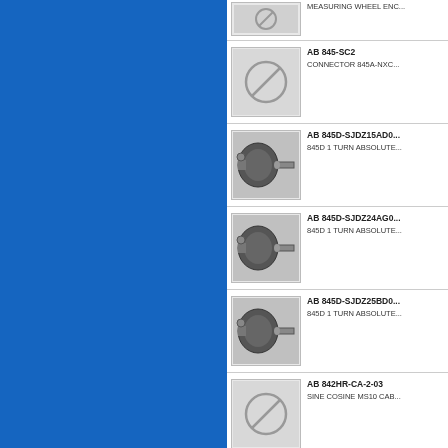[Figure (other): Blue decorative panel on left side]
MEASURING WHEEL ENC...
AB 845-SC2
CONNECTOR 845A-NXC...
AB 845D-SJDZ15AD0...
845D 1 TURN ABSOLUTE...
AB 845D-SJDZ24AG0...
845D 1 TURN ABSOLUTE...
AB 845D-SJDZ25BD0...
845D 1 TURN ABSOLUTE...
AB 842HR-CA-2-03
SINE COSINE MS10 CAB...
AB 845-CA-D-100
CABLE ASSEMBLY ENCO...
AB 845-CA-C-10
CABLE ASSEMBLY ENCO...
AB 845D-SJDN25AD0...
845D 1 TURN ABSOLUTE...